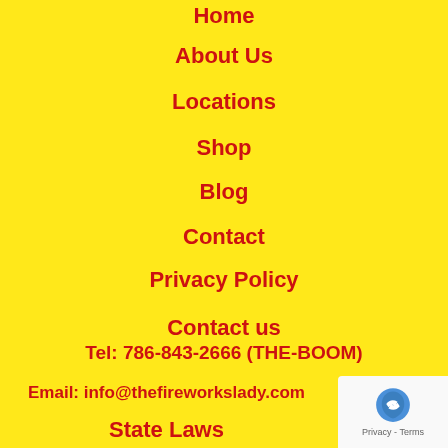Home
About Us
Locations
Shop
Blog
Contact
Privacy Policy
Contact us
Tel: 786-843-2666 (THE-BOOM)
Email: info@thefireworkslady.com
State Laws
[Figure (logo): Google reCAPTCHA badge with logo and Privacy - Terms text]